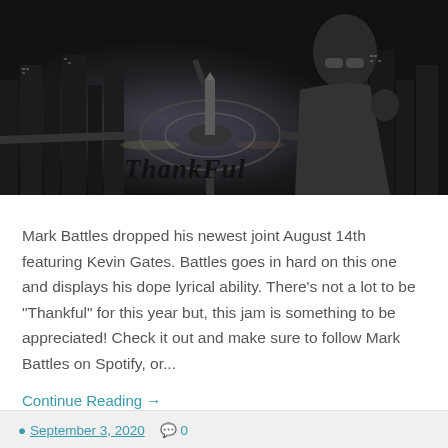[Figure (photo): Black and white photo of a man wearing sunglasses with a city skyline (circular roundabout/monument) behind him. The word 'ThankFul' is written in italic script over the lower portion of the image.]
Mark Battles dropped his newest joint August 14th featuring Kevin Gates. Battles goes in hard on this one and displays his dope lyrical ability. There's not a lot to be "Thankful" for this year but, this jam is something to be appreciated! Check it out and make sure to follow Mark Battles on Spotify, or...
Continue Reading →
September 3, 2020   0